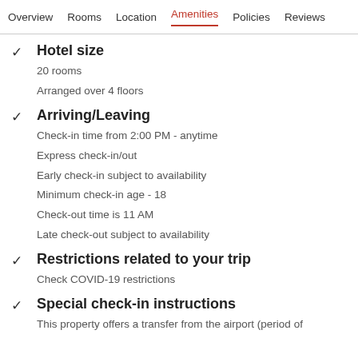Overview  Rooms  Location  Amenities  Policies  Reviews
Hotel size
20 rooms
Arranged over 4 floors
Arriving/Leaving
Check-in time from 2:00 PM - anytime
Express check-in/out
Early check-in subject to availability
Minimum check-in age - 18
Check-out time is 11 AM
Late check-out subject to availability
Restrictions related to your trip
Check COVID-19 restrictions
Special check-in instructions
This property offers a transfer from the airport (period of…